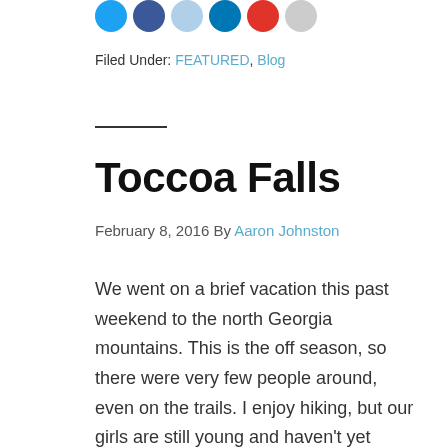[Figure (other): Row of social media sharing icon circles: blue (Twitter), dark blue (Facebook), light blue, dark navy (LinkedIn), red (Pinterest), and grey]
Filed Under: FEATURED, Blog
Toccoa Falls
February 8, 2016 By Aaron Johnston
We went on a brief vacation this past weekend to the north Georgia mountains. This is the off season, so there were very few people around, even on the trails. I enjoy hiking, but our girls are still young and haven't yet captured the spirit of it all. Or maybe it's simply a matter of having shorter legs. They have to take three steps for